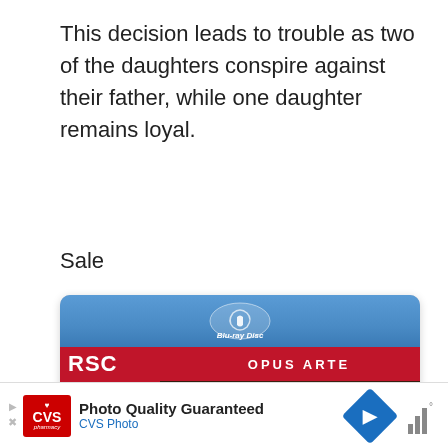This decision leads to trouble as two of the daughters conspire against their father, while one daughter remains loyal.
Sale
[Figure (photo): Blu-ray disc case for Royal Shakespeare Company (RSC) production published by Opus Arte, showing a man wearing a golden crown and fur-trimmed robe against a dark background, with large letters 'K' visible. The case has the RSC red logo in the top left and Opus Arte branding on a red banner.]
[Figure (screenshot): CVS Pharmacy advertisement bar at the bottom: 'Photo Quality Guaranteed / CVS Photo' with CVS logo, navigation arrows, and a blue diamond arrow icon.]